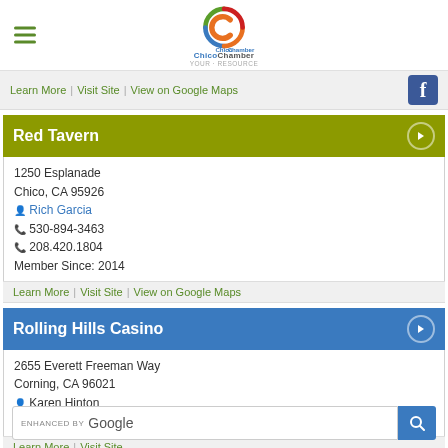[Figure (logo): Chico Chamber of Commerce logo with colorful circular C icon and text ChicoChamber]
Learn More | Visit Site | View on Google Maps
Red Tavern
1250 Esplanade
Chico, CA 95926
Rich Garcia
530-894-3463
208.420.1804
Member Since: 2014
Learn More | Visit Site | View on Google Maps
Rolling Hills Casino
2655 Everett Freeman Way
Corning, CA 96021
Karen Hinton
530-528-3500
Learn More | Visit Site
Roots Catering
Hamilton City, CA 95951
David Gomez
[Figure (screenshot): Enhanced by Google search bar overlay with blue search button]